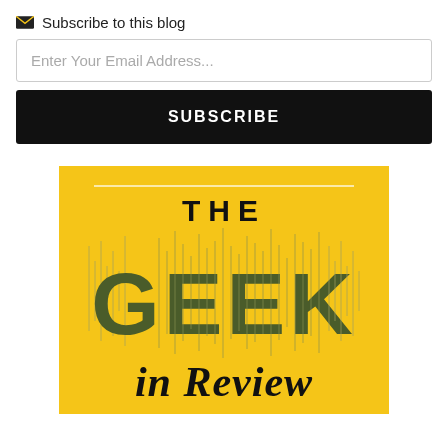✉ Subscribe to this blog
Enter Your Email Address...
SUBSCRIBE
[Figure (illustration): Book cover with yellow background showing 'THE GEEK in Review' text with decorative audio waveform pattern overlaid on large GEEK letters in dark olive/green color]